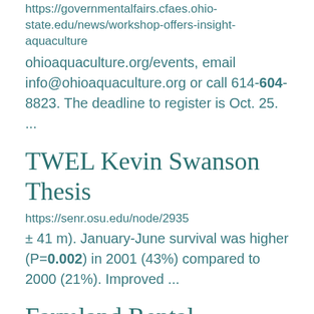https://governmentalfairs.cfaes.ohio-state.edu/news/workshop-offers-insight-aquaculture
ohioaquaculture.org/events, email info@ohioaquaculture.org or call 614-604-8823. The deadline to register is Oct. 25. ...
TWEL Kevin Swanson Thesis
https://senr.osu.edu/node/2935
± 41 m). January-June survival was higher (P=0.002) in 2001 (43%) compared to 2000 (21%). Improved ...
Farmland Rental Resources
https://paulding.osu.edu/program-